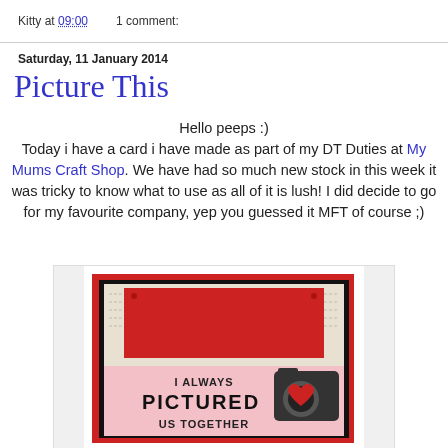Kitty at 09:00    1 comment:
Saturday, 11 January 2014
Picture This
Hello peeps :)
Today i have a card i have made as part of my DT Duties at My Mums Craft Shop. We have had so much new stock in this week it was tricky to know what to use as all of it is lush! I did decide to go for my favourite company, yep you guessed it MFT of course ;)
[Figure (photo): A handmade greeting card with a black, red, and pink color scheme featuring the text 'I ALWAYS PICTURED US TOGETHER' and a camera with a heart design.]